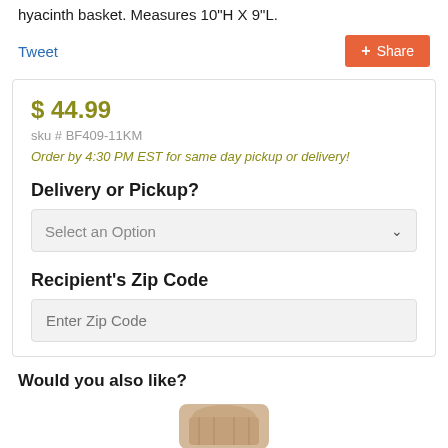hyacinth basket. Measures 10"H X 9"L.
Tweet
Share
$ 44.99
sku # BF409-11KM
Order by 4:30 PM EST for same day pickup or delivery!
Delivery or Pickup?
Select an Option
Recipient's Zip Code
Enter Zip Code
Would you also like?